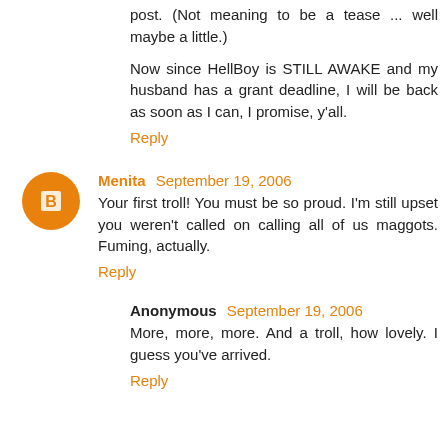post. (Not meaning to be a tease ... well maybe a little.)
Now since HellBoy is STILL AWAKE and my husband has a grant deadline, I will be back as soon as I can, I promise, y'all.
Reply
Menita  September 19, 2006
Your first troll! You must be so proud. I'm still upset you weren't called on calling all of us maggots. Fuming, actually.
Reply
Anonymous  September 19, 2006
More, more, more. And a troll, how lovely. I guess you've arrived.
Reply